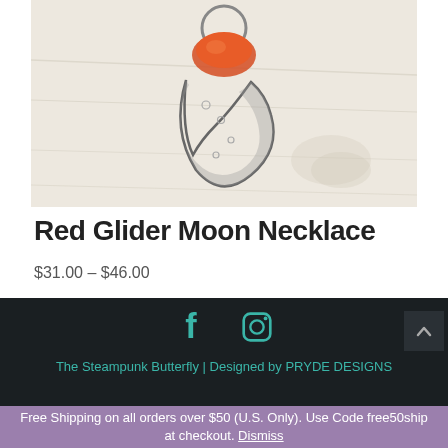[Figure (photo): Photo of a crescent moon shaped necklace pendant with red/orange stone on a light wooden surface]
Red Glider Moon Necklace
$31.00 – $46.00
[Figure (other): Footer with Facebook and Instagram social icons in teal on dark background, back-to-top arrow button]
The Steampunk Butterfly | Designed by PRYDE DESIGNS
Free Shipping on all orders over $50 (U.S. Only). Use Code free50ship at checkout. Dismiss